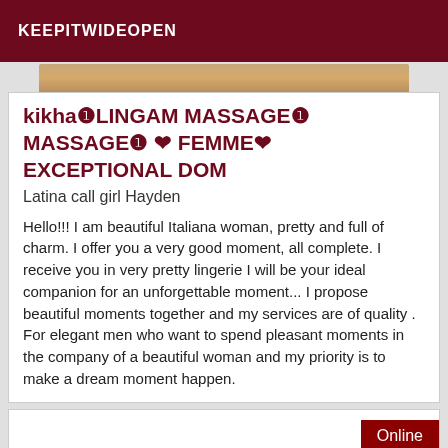KEEPITWIDEOPEN
[Figure (photo): Partial photo strip showing skin tones, cropped at top]
kikha❶LINGAM MASSAGE❶ MASSAGE❶ ❤ FEMME❤ EXCEPTIONAL DOM
Latina call girl Hayden
Hello!!! I am beautiful Italiana woman, pretty and full of charm. I offer you a very good moment, all complete. I receive you in very pretty lingerie I will be your ideal companion for an unforgettable moment... I propose beautiful moments together and my services are of quality . For elegant men who want to spend pleasant moments in the company of a beautiful woman and my priority is to make a dream moment happen.
Online